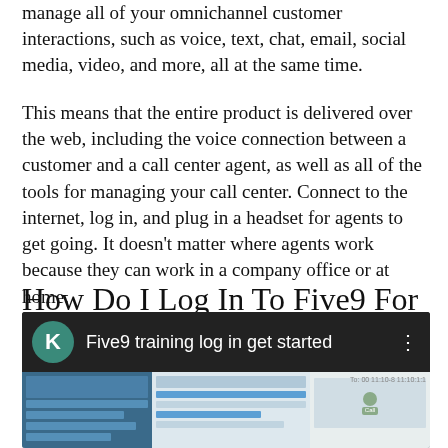manage all of your omnichannel customer interactions, such as voice, text, chat, email, social media, video, and more, all at the same time.
This means that the entire product is delivered over the web, including the voice connection between a customer and a call center agent, as well as all of the tools for managing your call center. Connect to the internet, log in, and plug in a headset for agents to get going. It doesn't matter where agents work because they can work in a company office or at home.
How Do I Log In To Five9 For A Shift?
[Figure (screenshot): Video thumbnail showing Five9 training log in get started, with a green circle containing letter K, interface screenshot of Five9 software]